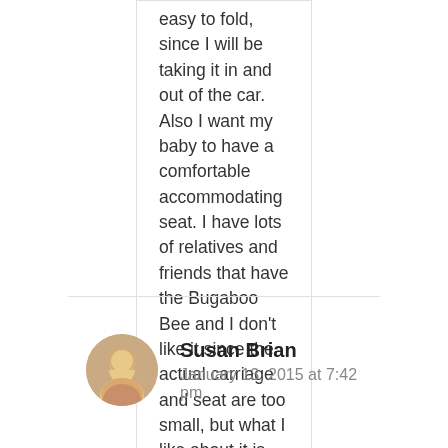easy to fold, since I will be taking it in and out of the car. Also I want my baby to have a comfortable accommodating seat. I have lots of relatives and friends that have the Bugaboo Bee and I don't like it since the actual carriage and seat are too small, but what I like about it is that it's a pretty, fashionable stroller. So which one from these 2 would you recommend after that?
Thank you and looking forward to hear your response.
Susan Brian
January 13, 2015 at 7:42 pm